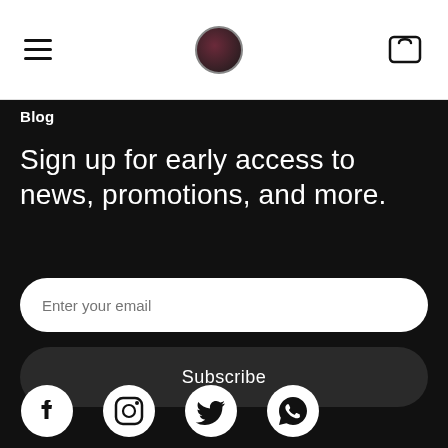Navigation bar with hamburger menu, logo, and cart icon
Blog
Sign up for early access to news, promotions, and more.
Enter your email
Subscribe
[Figure (illustration): Social media icons: Facebook, Instagram, Twitter, WhatsApp]